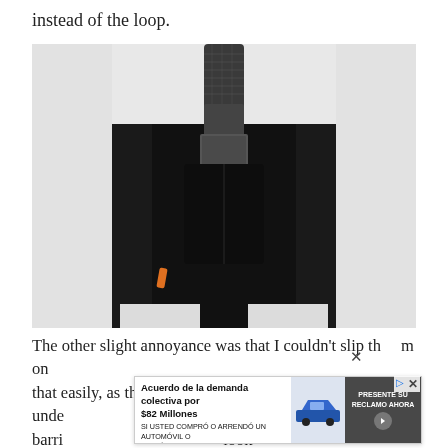instead of the loop.
[Figure (photo): Back view of a white mannequin wearing a black lumbar back brace with a vertical center strap running up the spine, shown against a light grey background.]
The other slight annoyance was that I couldn't slip them on that easily, as the pocket on the left leg would often fold under barri... look out f...